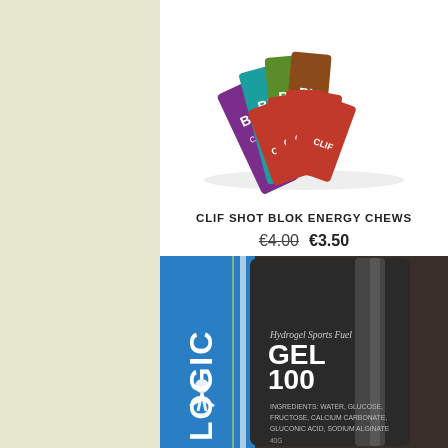[Figure (photo): Clif Shot Blok Energy Chews product photo showing colorful packets fanned out]
CLIF SHOT BLOK ENERGY CHEWS
€4.00  €3.50
[Figure (photo): Maurten Gel 100 Hydrogel Sports Fuel product photo showing black pouch with blue packaging behind it. Text reads: Hydrogel Sports Fuel GEL 100 INGREDIENTS: WATER, GLUCOSE, FRUCTOSE, CALCIUM CARBONATE, GLUCONIC ACID, SODIUM ALGINATE. 40G. Logo shows LOGIC on blue background.]